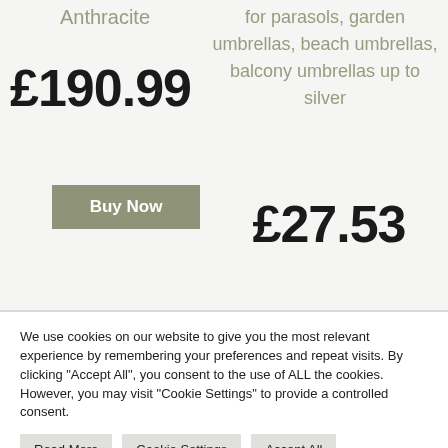Anthracite
£190.99
for parasols, garden umbrellas, beach umbrellas, balcony umbrellas up to silver
Buy Now
£27.53
We use cookies on our website to give you the most relevant experience by remembering your preferences and repeat visits. By clicking "Accept All", you consent to the use of ALL the cookies. However, you may visit "Cookie Settings" to provide a controlled consent.
Read More
Cookie Settings
Accept All